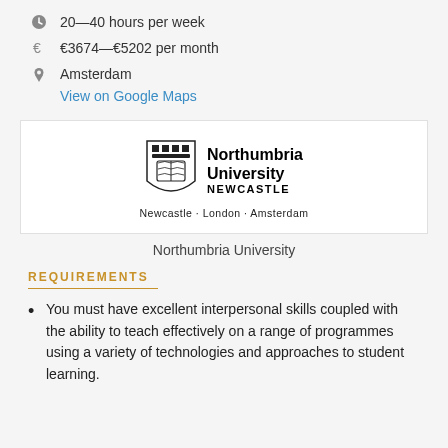20—40 hours per week
€3674—€5202 per month
Amsterdam
View on Google Maps
[Figure (logo): Northumbria University Newcastle logo with shield crest and text 'Newcastle · London · Amsterdam']
Northumbria University
REQUIREMENTS
You must have excellent interpersonal skills coupled with the ability to teach effectively on a range of programmes using a variety of technologies and approaches to student learning.